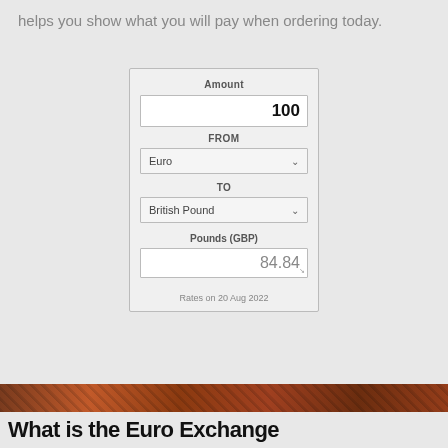helps you show what you will pay when ordering today.
[Figure (screenshot): Currency converter widget showing Amount: 100, FROM: Euro, TO: British Pound, result: 84.84 Pounds (GBP), Rates on 20 Aug 2022]
[Figure (photo): Decorative image strip with reddish-brown textured background]
What is the Euro Exchange